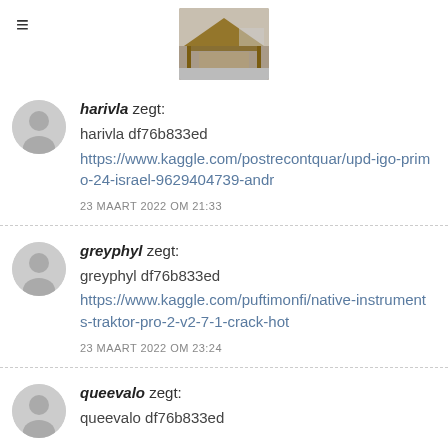[Figure (photo): Header image showing a wooden open-sided structure/carport in a parking area]
harivla zegt:
harivla df76b833ed
https://www.kaggle.com/postrecontquar/upd-igo-primo-24-israel-9629404739-andr
23 MAART 2022 OM 21:33
greyphyl zegt:
greyphyl df76b833ed
https://www.kaggle.com/puftimonfi/native-instruments-traktor-pro-2-v2-7-1-crack-hot
23 MAART 2022 OM 23:24
queevalo zegt:
queevalo df76b833ed